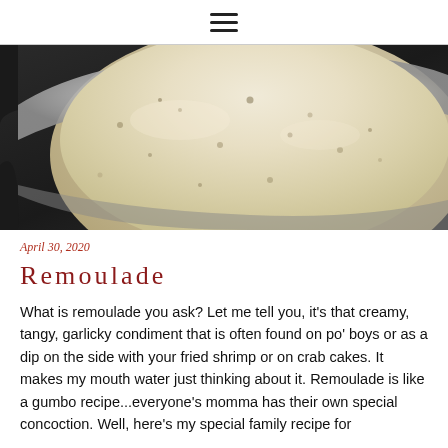≡
[Figure (photo): Close-up photo of remoulade sauce in a silver/chrome bowl, creamy white with speckles, on a dark counter]
April 30, 2020
Remoulade
What is remoulade you ask? Let me tell you, it's that creamy, tangy, garlicky condiment that is often found on po' boys or as a dip on the side with your fried shrimp or on crab cakes. It makes my mouth water just thinking about it. Remoulade is like a gumbo recipe...everyone's momma has their own special concoction. Well, here's my special family recipe for